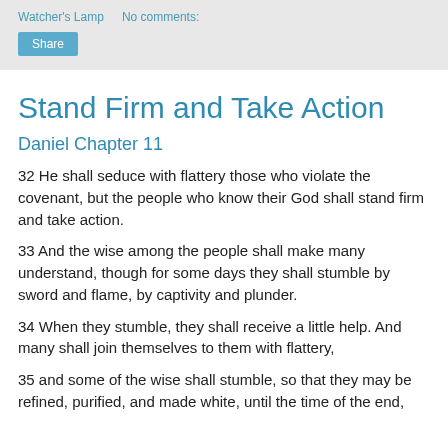Watcher's Lamp   No comments:
Stand Firm and Take Action
Daniel Chapter 11
32 He shall seduce with flattery those who violate the covenant, but the people who know their God shall stand firm and take action.
33 And the wise among the people shall make many understand, though for some days they shall stumble by sword and flame, by captivity and plunder.
34 When they stumble, they shall receive a little help. And many shall join themselves to them with flattery,
35 and some of the wise shall stumble, so that they may be refined, purified, and made white, until the time of the end,